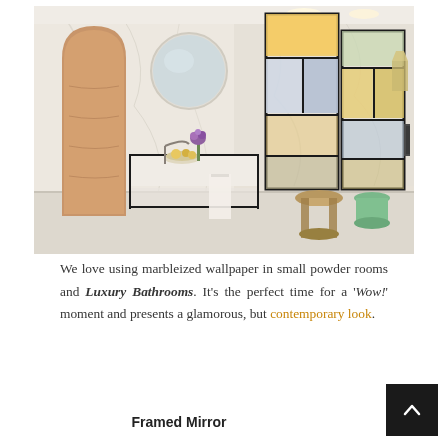[Figure (photo): Luxury bathroom interior with marble walls, geometric framed mirrors, a floating vanity with black metal frame, round wall mirror, flowers, towels, wooden stool, and green accent stool.]
We love using marbleized wallpaper in small powder rooms and Luxury Bathrooms. It’s the perfect time for a ‘Wow!’ moment and presents a glamorous, but contemporary look.
Framed Mirror